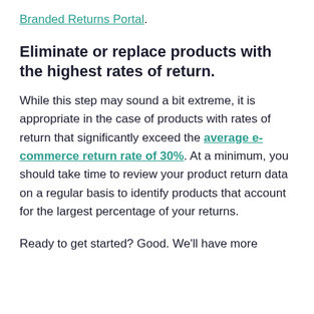Branded Returns Portal.
Eliminate or replace products with the highest rates of return.
While this step may sound a bit extreme, it is appropriate in the case of products with rates of return that significantly exceed the average e-commerce return rate of 30%. At a minimum, you should take time to review your product return data on a regular basis to identify products that account for the largest percentage of your returns.
Ready to get started? Good. We'll have more